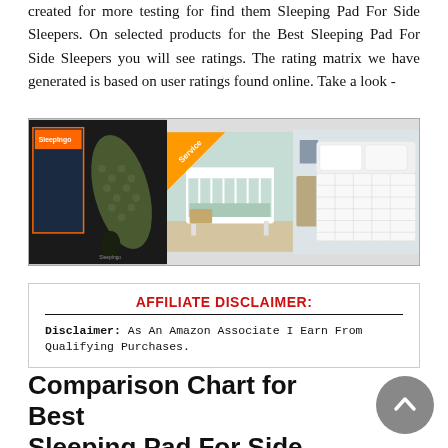created for more testing for find them Sleeping Pad For Side Sleepers. On selected products for the Best Sleeping Pad For Side Sleepers you will see ratings. The rating matrix we have generated is based on user ratings found online. Take a look -
[Figure (photo): A collage of three product images: left panel shows a dark olive/green inflatable sleeping pad with a carrying case against a dark background with colorful packaging; middle panel shows a white baby crib with a teal/mint wall, with an orange 'Service' badge in the corner; right panel shows a white quilted mattress topper on a bed with pillows.]
AFFILIATE DISCLAIMER:
Disclaimer: As An Amazon Associate I Earn From Qualifying Purchases.
Comparison Chart for Best Sleeping Pad For Side Sleepers